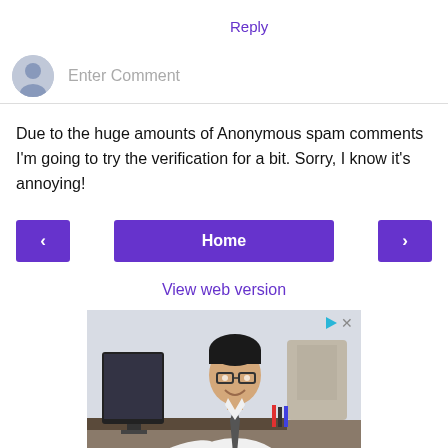Reply
Enter Comment
Due to the huge amounts of Anonymous spam comments I'm going to try the verification for a bit. Sorry, I know it's annoying!
< Home >
View web version
[Figure (photo): Advertisement photo of a young man in a white shirt and tie sitting at a desk with a computer monitor, smiling at the camera in an office setting.]